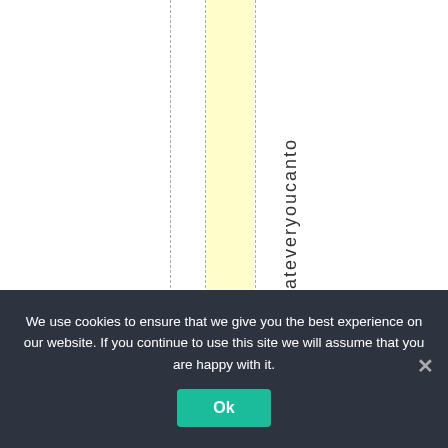[Figure (other): Web page screenshot showing a layout with dashed vertical guide lines, a yellow highlighted column, and vertical text reading 'dowhateveryoucanto' arranged letter by letter top to bottom.]
We use cookies to ensure that we give you the best experience on our website. If you continue to use this site we will assume that you are happy with it. Ok